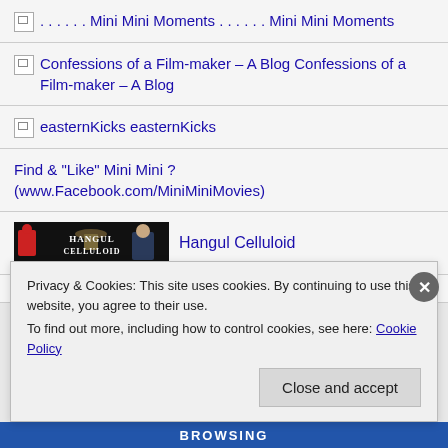. . . . . . Mini Mini Moments . . . . . . Mini Mini Moments
Confessions of a Film-maker – A Blog Confessions of a Film-maker – A Blog
easternKicks easternKicks
Find & "Like" Mini Mini ? (www.Facebook.com/MiniMiniMovies)
[Figure (photo): Hangul Celluloid banner image showing movie characters with stylized text logo]
Hangul Celluloid
(Best for Korean film?)
Privacy & Cookies: This site uses cookies. By continuing to use this website, you agree to their use. To find out more, including how to control cookies, see here: Cookie Policy
Close and accept
BROWSING